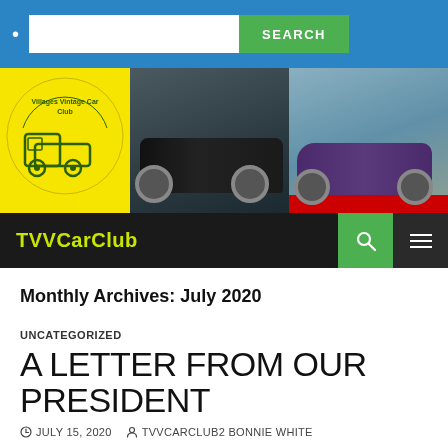SEARCH
[Figure (photo): Villages Vintage Car Club logo (yellow background with vintage truck illustration) alongside two classic car photos: a black Corvette and a purple/dark coupe]
TVVCarClub
Monthly Archives: July 2020
UNCATEGORIZED
A LETTER FROM OUR PRESIDENT
JULY 15, 2020   TVVCARCLUB2 BONNIE WHITE